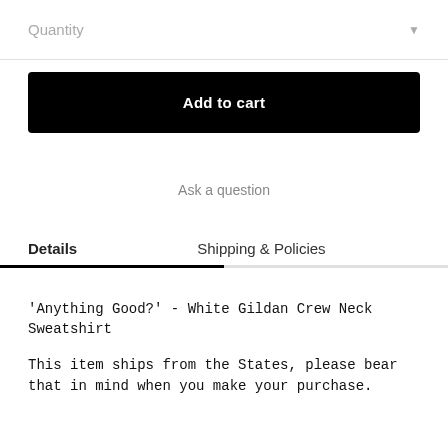Quantity
Add to cart
Ask a question
Details
Shipping & Policies
'Anything Good?' - White Gildan Crew Neck Sweatshirt
This item ships from the States, please bear that in mind when you make your purchase.